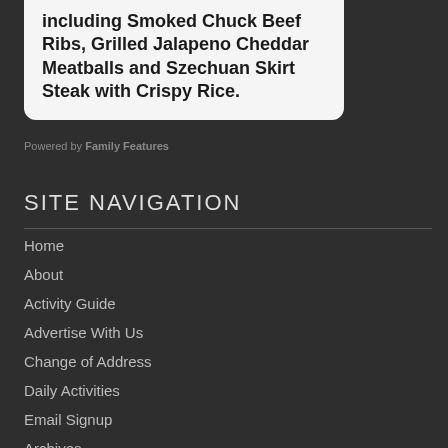including Smoked Chuck Beef Ribs, Grilled Jalapeno Cheddar Meatballs and Szechuan Skirt Steak with Crispy Rice.
Powered by Family Features
SITE NAVIGATION
Home
About
Activity Guide
Advertise With Us
Change of Address
Daily Activities
Email Signup
Archives
Handy Number Guide
HOA Contact Information